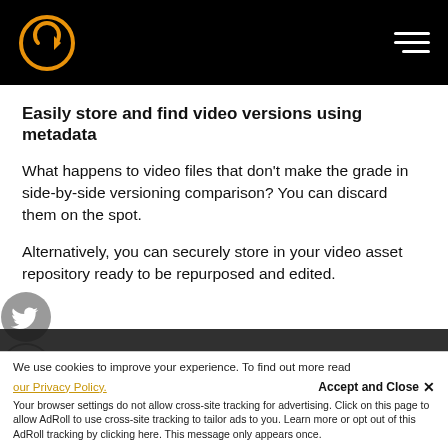[Logo: Cinegy] [Hamburger menu]
Easily store and find video versions using metadata
What happens to video files that don't make the grade in side-by-side versioning comparison? You can discard them on the spot.
Alternatively, you can securely store in your video asset repository ready to be repurposed and edited.
[Figure (logo): Twitter bird icon social share button]
[Figure (logo): LinkedIn icon social share button]
We use cookies to improve your experience. To find out more read our Privacy Policy.
Accept and Close ✕
Your browser settings do not allow cross-site tracking for advertising. Click on this page to allow AdRoll to use cross-site tracking to tailor ads to you. Learn more or opt out of this AdRoll tracking by clicking here. This message only appears once.